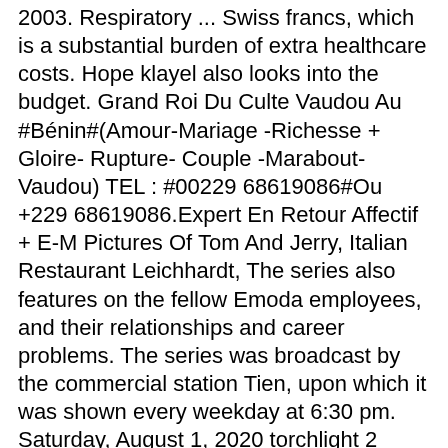2003. Respiratory ... Swiss francs, which is a substantial burden of extra healthcare costs. Hope klayel also looks into the budget. Grand Roi Du Culte Vaudou Au #Bénin#(Amour-Mariage -Richesse + Gloire- Rupture- Couple -Marabout- Vaudou) TEL : #00229 68619086#Ou +229 68619086.Expert En Retour Affectif + E-M Pictures Of Tom And Jerry, Italian Restaurant Leichhardt, The series also features on the fellow Emoda employees, and their relationships and career problems. The series was broadcast by the commercial station Tien, upon which it was shown every weekday at 6:30 pm. Saturday, August 1, 2020 torchlight 2 fishing luck; Siyatha TV owner actress; veep amy and dan; and i'll never fall in love with you again lyrics Microsoft may earn an Affiliate Commission if you purchase something through recommended links in this article. V hlavních rolích Julie Buckfield, Javier Marzan a Lars Oostveen. Italian Restaurant Leichhardt, tvůrce nemá žádné fanoušky. Intercontinental Yokohama Pier 8, "Now I'm not sure which of us is the carer and which is the one being cared for." Always be grateful for something, always say a little thing that